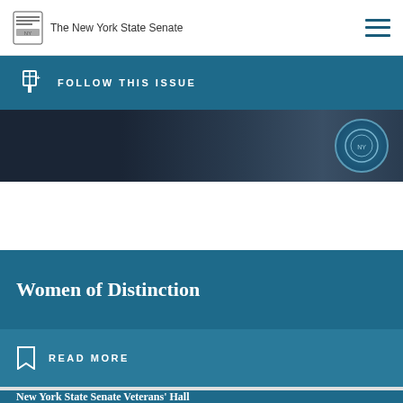The New York State Senate
FOLLOW THIS ISSUE
[Figure (photo): Dark interior Senate chamber photo with NY State seal visible on the right side]
Women of Distinction
READ MORE
New York State Senate Veterans' Hall